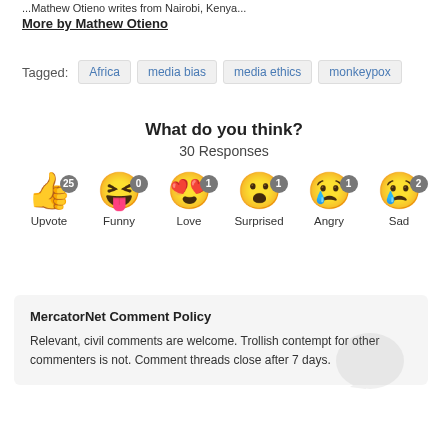More by Mathew Otieno
Tagged: Africa  media bias  media ethics  monkeypox
What do you think?
30 Responses
[Figure (infographic): Six emoji reaction buttons with counts: Upvote 25, Funny 0, Love 1, Surprised 1, Angry 1, Sad 2]
MercatorNet Comment Policy
Relevant, civil comments are welcome. Trollish contempt for other commenters is not. Comment threads close after 7 days.